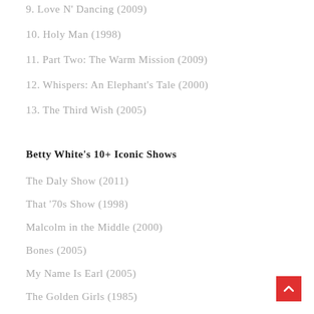9. Love N' Dancing (2009)
10. Holy Man (1998)
11. Part Two: The Warm Mission (2009)
12. Whispers: An Elephant's Tale (2000)
13. The Third Wish (2005)
Betty White's 10+ Iconic Shows
The Daly Show (2011)
That '70s Show (1998)
Malcolm in the Middle (2000)
Bones (2005)
My Name Is Earl (2005)
The Golden Girls (1985)